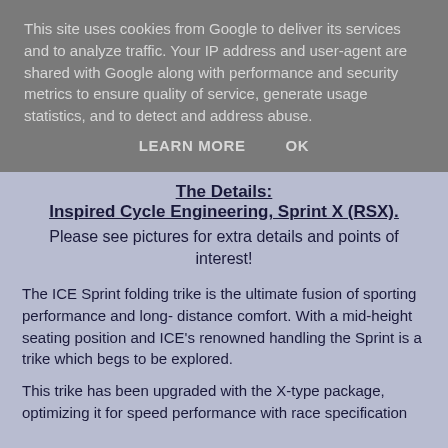This site uses cookies from Google to deliver its services and to analyze traffic. Your IP address and user-agent are shared with Google along with performance and security metrics to ensure quality of service, generate usage statistics, and to detect and address abuse.
LEARN MORE   OK
The Details: Inspired Cycle Engineering, Sprint X (RSX).
Please see pictures for extra details and points of interest!
The ICE Sprint folding trike is the ultimate fusion of sporting performance and long- distance comfort. With a mid-height seating position and ICE's renowned handling the Sprint is a trike which begs to be explored.
This trike has been upgraded with the X-type package, optimizing it for speed performance with race specification